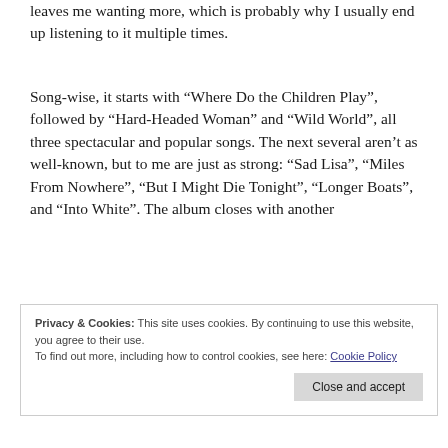leaves me wanting more, which is probably why I usually end up listening to it multiple times.
Song-wise, it starts with “Where Do the Children Play”, followed by “Hard-Headed Woman” and “Wild World”, all three spectacular and popular songs. The next several aren’t as well-known, but to me are just as strong: “Sad Lisa”, “Miles From Nowhere”, “But I Might Die Tonight”, “Longer Boats”, and “Into White”. The album closes with another
Privacy & Cookies: This site uses cookies. By continuing to use this website, you agree to their use.
To find out more, including how to control cookies, see here: Cookie Policy
If I have to pick my absolute favorites from the